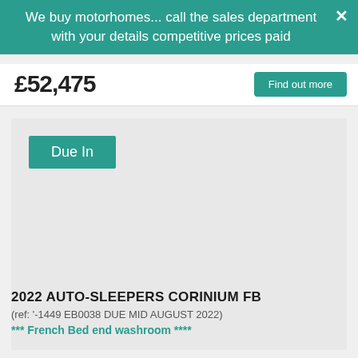We buy motorhomes... call the sales department with your details competitive prices paid
£52,475
Find out more
Due In
2022 AUTO-SLEEPERS CORINIUM FB
(ref: '-1449 EB0038 DUE MID AUGUST 2022)
*** French Bed end washroom ****